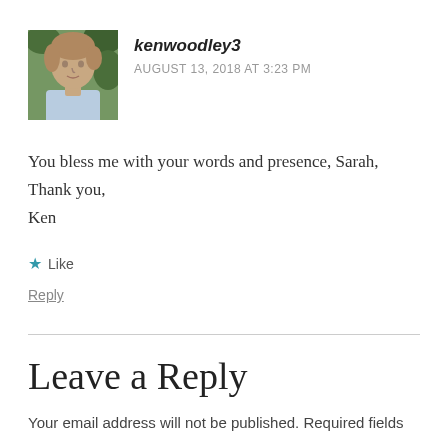[Figure (photo): Avatar photo of commenter kenwoodley3 — a man with light brown hair against a green background]
kenwoodley3
AUGUST 13, 2018 AT 3:23 PM
You bless me with your words and presence, Sarah,
Thank you,
Ken
★ Like
Reply
Leave a Reply
Your email address will not be published. Required fields